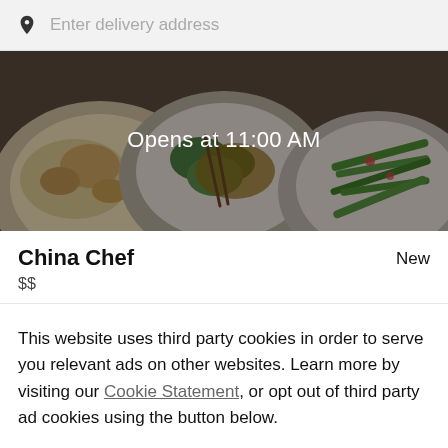Enter delivery address
[Figure (photo): Banner image of food dishes showing fried rice, stir-fried vegetables with broccoli and sauce, and green beans with garnish on white plates, with a dark overlay and text 'Opens at 11:00 AM']
China Chef
New
$$
This website uses third party cookies in order to serve you relevant ads on other websites. Learn more by visiting our Cookie Statement, or opt out of third party ad cookies using the button below.
OPT OUT
GOT IT